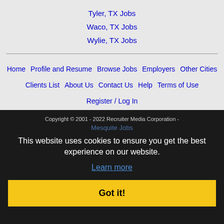Tyler, TX Jobs
Waco, TX Jobs
Wylie, TX Jobs
Home
Profile and Resume
Browse Jobs
Employers
Other Cities
Clients List
About Us
Contact Us
Help
Terms of Use
Register / Log In
Copyright © 2001 - 2022 Recruiter Media Corporation - Mesquite Jobs
This website uses cookies to ensure you get the best experience on our website.
Learn more
Got it!